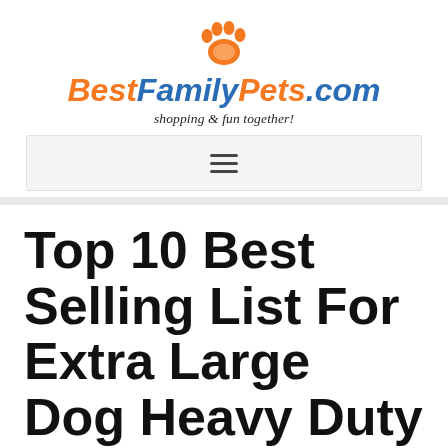[Figure (logo): BestFamilyPets.com logo with an orange paw print icon above the stylized text 'BestFamilyPets.com' and tagline 'shopping & fun together!']
shopping & fun together!
[Figure (other): Navigation bar with hamburger menu icon (three horizontal lines)]
Top 10 Best Selling List For Extra Large Dog Heavy Duty Wire